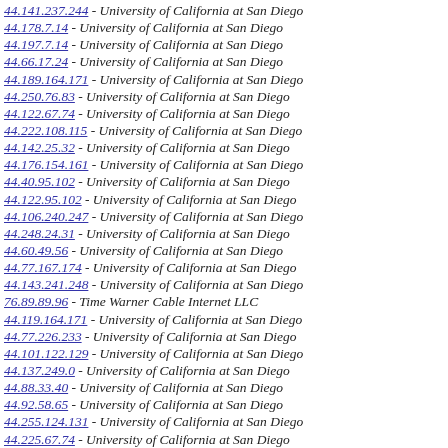44.141.237.244 - University of California at San Diego
44.178.7.14 - University of California at San Diego
44.197.7.14 - University of California at San Diego
44.66.17.24 - University of California at San Diego
44.189.164.171 - University of California at San Diego
44.250.76.83 - University of California at San Diego
44.122.67.74 - University of California at San Diego
44.222.108.115 - University of California at San Diego
44.142.25.32 - University of California at San Diego
44.176.154.161 - University of California at San Diego
44.40.95.102 - University of California at San Diego
44.122.95.102 - University of California at San Diego
44.106.240.247 - University of California at San Diego
44.248.24.31 - University of California at San Diego
44.60.49.56 - University of California at San Diego
44.77.167.174 - University of California at San Diego
44.143.241.248 - University of California at San Diego
76.89.89.96 - Time Warner Cable Internet LLC
44.119.164.171 - University of California at San Diego
44.77.226.233 - University of California at San Diego
44.101.122.129 - University of California at San Diego
44.137.249.0 - University of California at San Diego
44.88.33.40 - University of California at San Diego
44.92.58.65 - University of California at San Diego
44.255.124.131 - University of California at San Diego
44.225.67.74 - University of California at San Diego
44.225.65.72 - University of California at San Diego
44.122.84.91 - University of California at San Diego
44.78.49.56 - University of California at San Diego
44.38.72.79 - University of California at San Diego